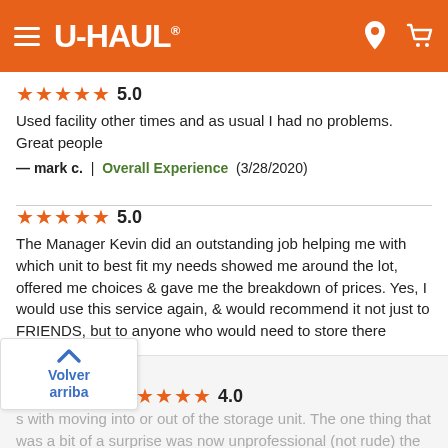[Figure (screenshot): U-Haul website header with orange background, hamburger menu, U-Haul logo, location pin icon, and cart icon]
★★★★★ 5.0
Used facility other times and as usual I had no problems. Great people
— mark c.  |  Overall Experience  (3/28/2020)
★★★★★ 5.0
The Manager Kevin did an outstanding job helping me with which unit to best fit my needs showed me around the lot, offered me choices & gave me the breakdown of prices. Yes, I would use this service again, & would recommend it not just to FRIENDS, but to anyone who would need to store there person items.
— kevin a.  |  Overall Experience  (2/24/2020)
Volver arriba
★★★★ 4.0
...s with moving into or out of the storage unit. The one thing that was a bit of a surprise was now unprofessional (not rude) the